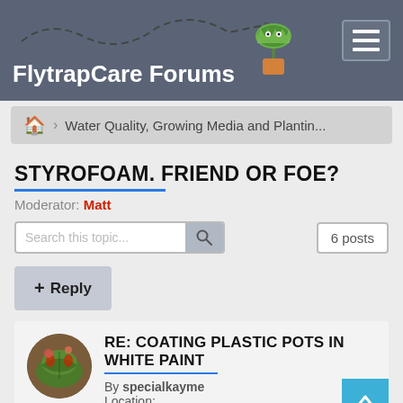FlytrapCare Forums
Water Quality, Growing Media and Plantin...
STYROFOAM. FRIEND OR FOE?
Moderator: Matt
Search this topic...
6posts
+ Reply
RE: COATING PLASTIC POTS IN WHITE PAINT
By specialkayme
Location: